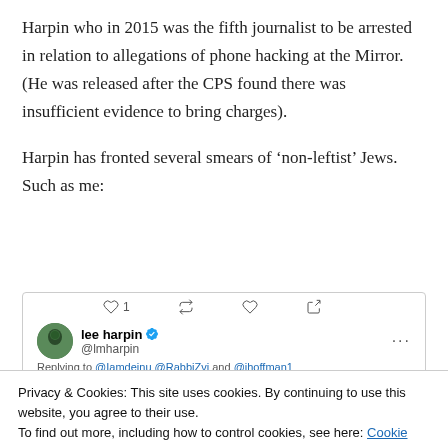Harpin who in 2015 was the fifth journalist to be arrested in relation to allegations of phone hacking at the Mirror. (He was released after the CPS found there was insufficient evidence to bring charges).
Harpin has fronted several smears of 'non-leftist' Jews. Such as me:
[Figure (screenshot): Screenshot of a tweet by lee harpin (@lmharpin), showing tweet action icons at top, the user's avatar, name with verified badge, handle, 'Replying to @Iamdeinu @RabbiZvi and @jhoffman1', and partial tweet text: 'It's not a joke. Too many people have been giving']
Privacy & Cookies: This site uses cookies. By continuing to use this website, you agree to their use.
To find out more, including how to control cookies, see here: Cookie Policy
Unlike Marlow and Gary Mond (the Chair of the NJA),